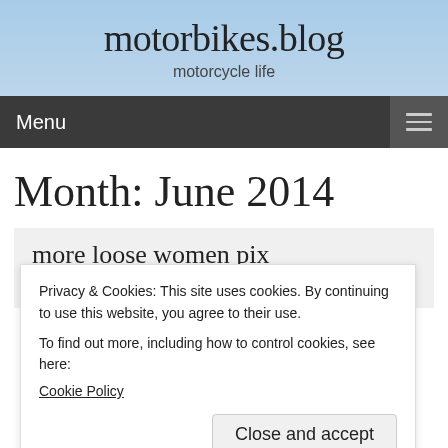motorbikes.blog
motorcycle life
Menu
Month: June 2014
more loose women pix
Privacy & Cookies: This site uses cookies. By continuing to use this website, you agree to their use.
To find out more, including how to control cookies, see here:
Cookie Policy
Close and accept
Share this:
Facebook
Email
Twitter